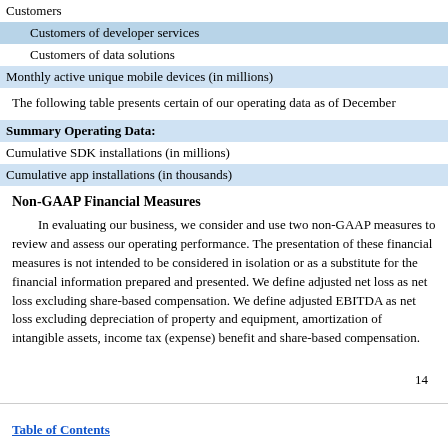| Customers |
| Customers of developer services |
| Customers of data solutions |
| Monthly active unique mobile devices (in millions) |
The following table presents certain of our operating data as of December
| Summary Operating Data: |
| Cumulative SDK installations (in millions) |
| Cumulative app installations (in thousands) |
Non-GAAP Financial Measures
In evaluating our business, we consider and use two non-GAAP measures to review and assess our operating performance. The presentation of these financial measures is not intended to be considered in isolation or as a substitute for the financial information prepared and presented. We define adjusted net loss as net loss excluding share-based compensation. We define adjusted EBITDA as net loss excluding depreciation of property and equipment, amortization of intangible assets, income tax (expense) benefit and share-based compensation.
14
Table of Contents